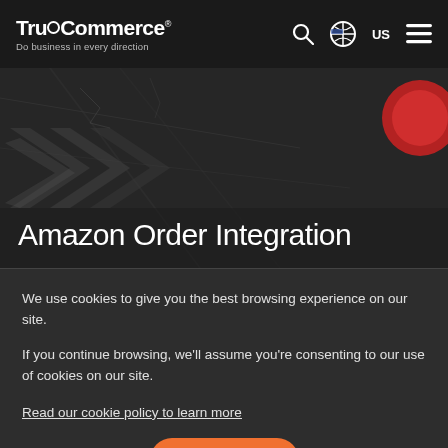TrueCommerce
Do business in every direction
[Figure (screenshot): Dark textured hero image with chevron/arrow patterns and a red circular element in the top right, serving as website hero background for Amazon Order Integration page]
Amazon Order Integration
We use cookies to give you the best browsing experience on our site.

If you continue browsing, we'll assume you're consenting to our use of cookies on our site.
Read our cookie policy to learn more
OK